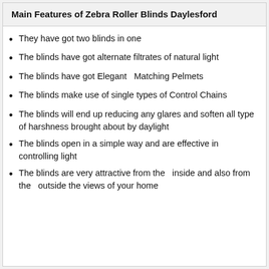Main Features of Zebra Roller Blinds Daylesford
They have got two blinds in one
The blinds have got alternate filtrates of natural light
The blinds have got Elegant  Matching Pelmets
The blinds make use of single types of Control Chains
The blinds will end up reducing any glares and soften all type of harshness brought about by daylight
The blinds open in a simple way and are effective in controlling light
The blinds are very attractive from the  inside and also from the  outside the views of your home